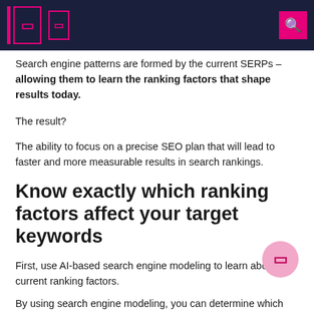Navigation header with icons
Search engine patterns are formed by the current SERPs – allowing them to learn the ranking factors that shape results today.
The result?
The ability to focus on a precise SEO plan that will lead to faster and more measurable results in search rankings.
Know exactly which ranking factors affect your target keywords
First, use AI-based search engine modeling to learn about current ranking factors.
By using search engine modeling, you can determine which